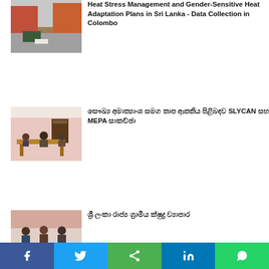[Figure (photo): Street scene in Sri Lanka with red/orange buildings and a vehicle]
Heat Stress Management and Gender-Sensitive Heat Adaptation Plans in Sri Lanka - Data Collection in Colombo
[Figure (photo): Meeting room with people seated around a table with documents]
සෞඛ්‍ය අමාත්‍යාංශ සමග තාප ආතතිය පිළිබඳව SLYCAN සහ MEPA සාකච්ඡා
[Figure (photo): Meeting or workshop with people seated, partial view]
ශ්‍රී ලංකා රාජ්‍ය ග්‍රාමීය ක්ෂුද්‍ර ව්‍යාපාර
f  Twitter  Share  in  WhatsApp